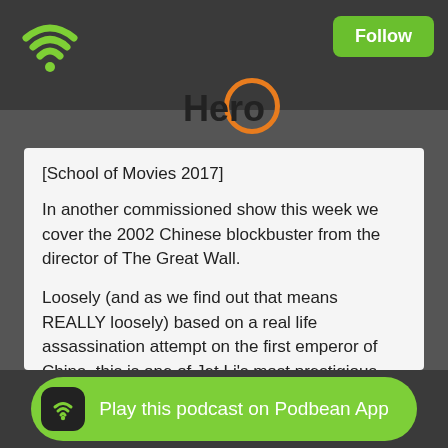[Figure (logo): Green wifi/podcast icon on dark background top-left]
Hero
[School of Movies 2017]

In another commissioned show this week we cover the 2002 Chinese blockbuster from the director of The Great Wall.

Loosely (and as we find out that means REALLY loosely) based on a real life assassination attempt on the first emperor of China, this is one of Jet Li’s most prestigious appearances. Featuring a trio of assassins played by Tony Leung, Maggie Cheung, and the amazing Donnie Yen, this blends serious, historical drama with stunningly photographed, excellently choreographed martial arts.
Play this podcast on Podbean App